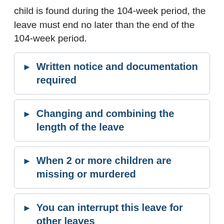child is found during the 104-week period, the leave must end no later than the end of the 104-week period.
▶ Written notice and documentation required
▶ Changing and combining the length of the leave
▶ When 2 or more children are missing or murdered
▶ You can interrupt this leave for other leaves
▶ When...